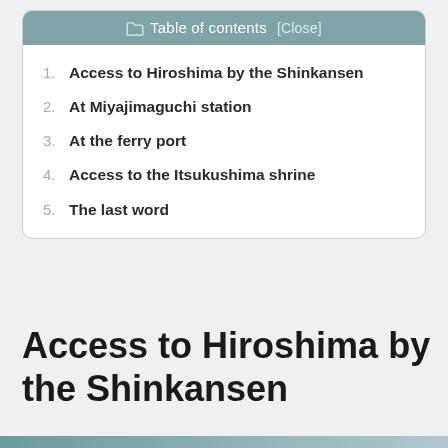Table of contents [Close]
1. Access to Hiroshima by the Shinkansen
2. At Miyajimaguchi station
3. At the ferry port
4. Access to the Itsukushima shrine
5. The last word
Access to Hiroshima by the Shinkansen